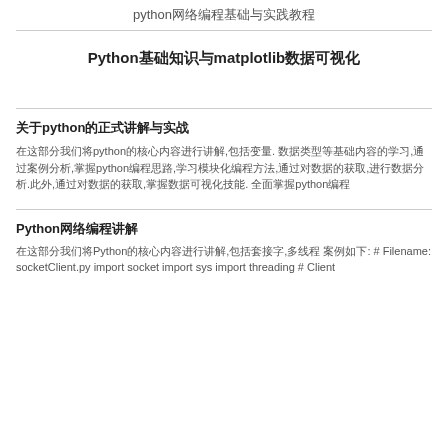python网络编程基础与实践教程
Python基础知识与matplotlib数据可视化
关于python的正式讲解与实战
在这部分我们将python的核心内容进行讲解,包括变量. 数据类型等基础内容的学习,通过案例分析,掌握python编程思路,学习模块化编程方法. 此外,通过对数据的获取,进行数据分析. 全面掌握python编程
Python网络编程讲解
在这部分我们将Python的核心内容进行讲解,包括套接字,多线程 案例如下: # Filename: socketClient.py import socket import sys import threading # Client